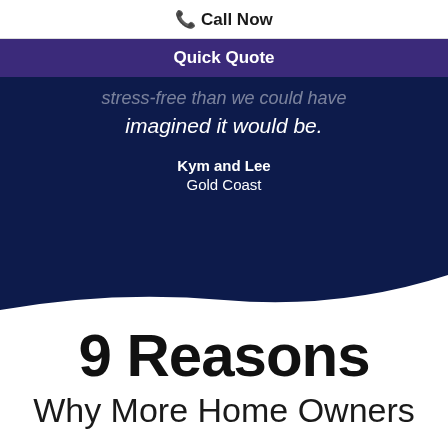📞 Call Now
Quick Quote
stress-free than we could have imagined it would be.
Kym and Lee
Gold Coast
9 Reasons
Why More Home Owners